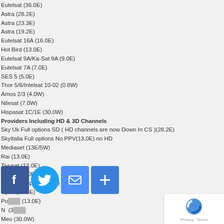Eutelsat (36.0E)
Astra (28.2E)
Astra (23.3E)
Astra (19.2E)
Eutelsat 16A (16.0E)
Hot Bird (13.0E)
Eutelsat 9A/Ka-Sat 9A (9.0E)
Eutelsat 7A (7.0E)
SES 5 (5.0E)
Thor 5/6/Intelsat 10-02 (0.8W)
Amos 2/3 (4.0W)
Nilesat (7.0W)
Hispasat 1C/1E (30.0W)
Providers Including HD & 3D Channels
Sky Uk Full options SD ( HD channels are now Down In CS )(28.2E)
SkyItalia Full options No PPV(13.0E) no HD
Mediaset (13E/5W)
Rai (13.0E)
Tivusat (13.0E)
ABsat (13.0E)
Aljazeera sport (13.0E)
Cyfra (13.0E)
Polsat (13.0E)
N (3...)
Meo (30.0W)
All Adults (13.0E)
HRT (13.0E)
SRG Swiss (13.0E)
Canalsat French (19.2E)
Digital+ Spain (19.2E)